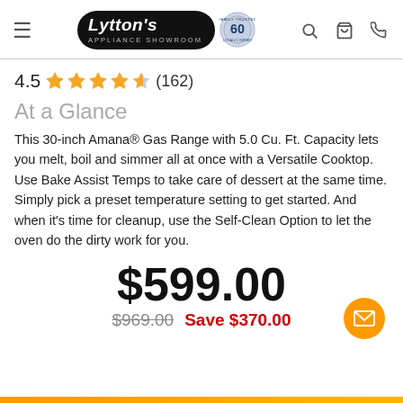Lytton's Appliance Showroom
4.5 ★★★★½ (162)
At a Glance
This 30-inch Amana® Gas Range with 5.0 Cu. Ft. Capacity lets you melt, boil and simmer all at once with a Versatile Cooktop. Use Bake Assist Temps to take care of dessert at the same time. Simply pick a preset temperature setting to get started. And when it's time for cleanup, use the Self-Clean Option to let the oven do the dirty work for you.
$599.00
$969.00  Save $370.00